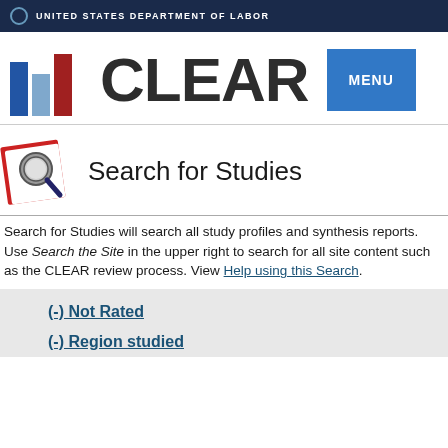UNITED STATES DEPARTMENT OF LABOR
[Figure (logo): CLEAR logo with bar chart icon and MENU button]
Search for Studies
Search for Studies will search all study profiles and synthesis reports. Use Search the Site in the upper right to search for all site content such as the CLEAR review process. View Help using this Search.
(-) Not Rated
(-) Region studied